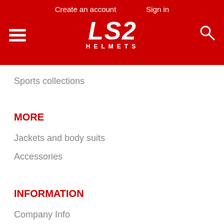Create an account   Sign in
[Figure (logo): LS2 Helmets logo in white italic text on red background, with hamburger menu icon on left and search icon on right]
Sports collections
MORE
Jackets and body suits
Accessories
INFORMATION
Company Info
Helmet Manual
Delivery Information
Become a dealer
Returns/exchange policy